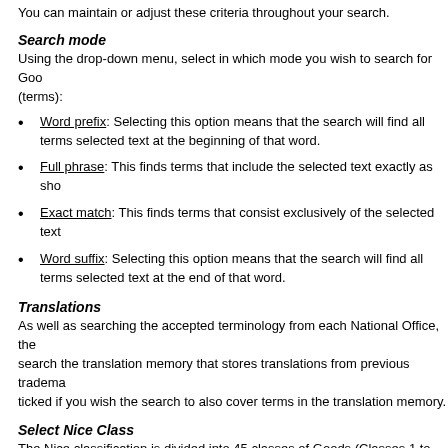You can maintain or adjust these criteria throughout your search.
Search mode
Using the drop-down menu, select in which mode you wish to search for Goods (terms):
Word prefix: Selecting this option means that the search will find all terms selected text at the beginning of that word.
Full phrase: This finds terms that include the selected text exactly as sho
Exact match: This finds terms that consist exclusively of the selected text
Word suffix: Selecting this option means that the search will find all terms selected text at the end of that word.
Translations
As well as searching the accepted terminology from each National Office, the search the translation memory that stores translations from previous tradema ticked if you wish the search to also cover terms in the translation memory.
Select Nice Class
The Nice classification is divided into 45 classes of Goods (Classes 1 to 34)